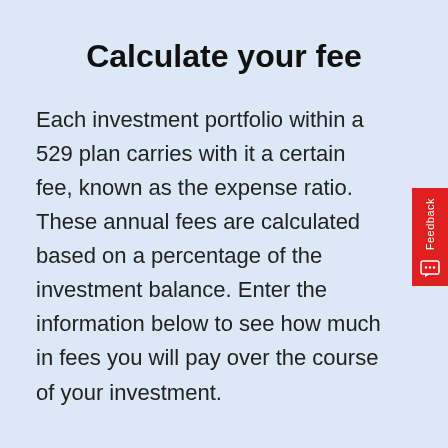Calculate your fee
Each investment portfolio within a 529 plan carries with it a certain fee, known as the expense ratio. These annual fees are calculated based on a percentage of the investment balance. Enter the information below to see how much in fees you will pay over the course of your investment.
$3,560.93